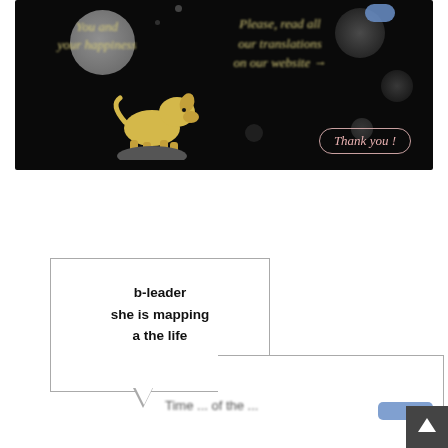[Figure (screenshot): A dark/black slide or banner image with a yellow illustrated dog standing on a rock, moon-like circles in the background, italic yellow text on the left reading 'You and your happiness', italic yellow text on the right reading 'Please, read all our translations on our website →', and a pink/rose styled 'Thank you!' button at the bottom right.]
[Figure (screenshot): A speech bubble (white rectangle with border and a small tail at the bottom) containing bold text reading 'b-leader she is mapping a the life', with a partial second bordered box to the bottom right, and a scroll-to-top button in the bottom-right corner. Partially visible text below the speech bubble.]